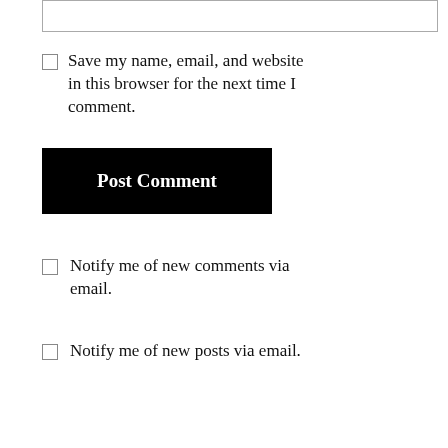[Figure (other): Text input box (form field, partially visible at top)]
Save my name, email, and website in this browser for the next time I comment.
Post Comment
Notify me of new comments via email.
Notify me of new posts via email.